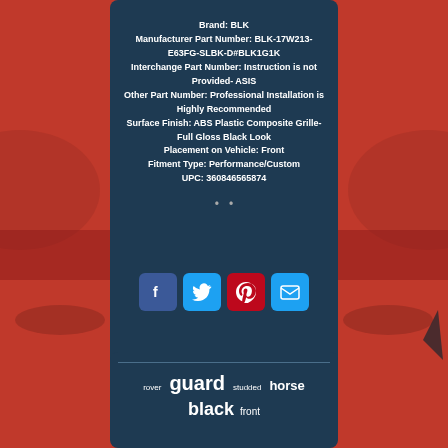Brand: BLK
Manufacturer Part Number: BLK-17W213-E63FG-SLBK-D#BLK1G1K
Interchange Part Number: Instruction is not Provided- ASIS
Other Part Number: Professional Installation is Highly Recommended
Surface Finish: ABS Plastic Composite Grille- Full Gloss Black Look
Placement on Vehicle: Front
Fitment Type: Performance/Custom
UPC: 360846565874
[Figure (infographic): Social sharing icons: Facebook (blue), Twitter (light blue), Pinterest (red), Email (light blue)]
rover  guard  studded  horse
black  front